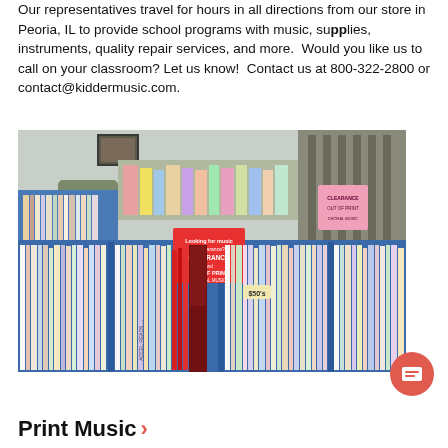Our representatives travel for hours in all directions from our store in Peoria, IL to provide school programs with music, supplies, instruments, quality repair services, and more.  Would you like us to call on your classroom? Let us know!  Contact us at 800-322-2800 or contact@kiddermusic.com.
[Figure (photo): Interior photo of a music store showing blue bins filled with print music books and sheet music, with shelving visible in the background. A red sign reading 'CLEARANCE OUT OF PRINT' is visible in the center of the bins.]
Print Music ›